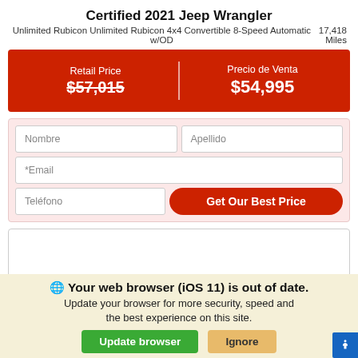Certified 2021 Jeep Wrangler
Unlimited Rubicon Unlimited Rubicon 4x4 Convertible 8-Speed Automatic w/OD   17,418 Miles
[Figure (infographic): Red price banner with Retail Price $57,015 (strikethrough) on left and Precio de Venta $54,995 on right, separated by a vertical white divider]
[Figure (infographic): Contact form with fields: Nombre, Apellido, *Email, Teléfono, and a red 'Get Our Best Price' button]
[Figure (infographic): Empty white content box]
Your web browser (iOS 11) is out of date. Update your browser for more security, speed and the best experience on this site.
[Figure (infographic): Update browser (green) and Ignore (tan) buttons, with blue accessibility icon on far right]